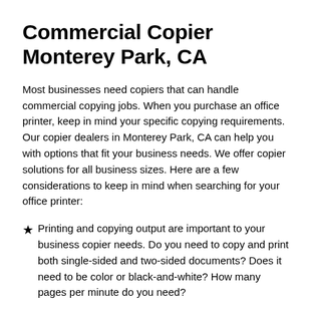Commercial Copier Monterey Park, CA
Most businesses need copiers that can handle commercial copying jobs. When you purchase an office printer, keep in mind your specific copying requirements. Our copier dealers in Monterey Park, CA can help you with options that fit your business needs. We offer copier solutions for all business sizes. Here are a few considerations to keep in mind when searching for your office printer:
Printing and copying output are important to your business copier needs. Do you need to copy and print both single-sided and two-sided documents? Does it need to be color or black-and-white? How many pages per minute do you need?